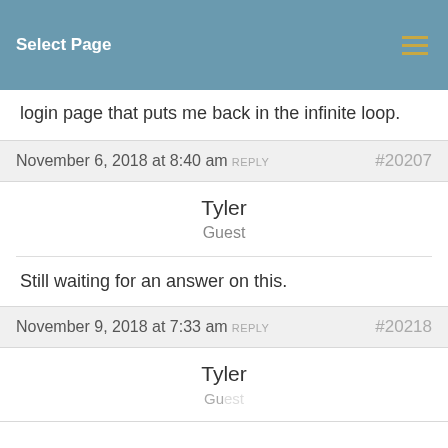Select Page
login page that puts me back in the infinite loop.
November 6, 2018 at 8:40 am REPLY #20207
Tyler
Guest
Still waiting for an answer on this.
November 9, 2018 at 7:33 am REPLY #20218
Tyler
Guest